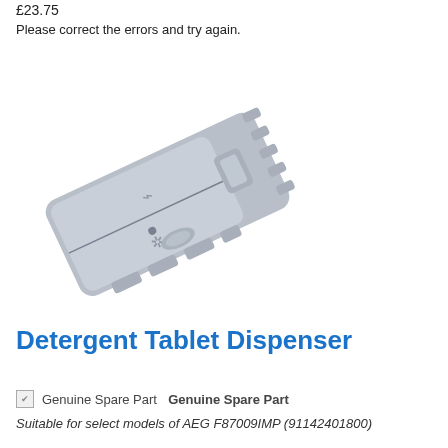£23.75
Please correct the errors and try again.
Add To Basket
[Figure (photo): A grey plastic detergent tablet dispenser for a dishwasher, photographed at an angle on a white background.]
Detergent Tablet Dispenser
Genuine Spare Part  Genuine Spare Part
Suitable for select models of AEG F87009IMP (91142401800)